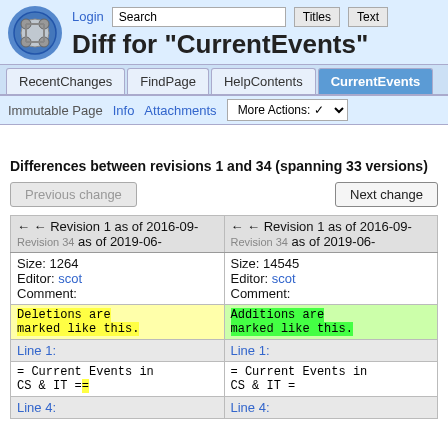Diff for "CurrentEvents" — Login, Search, Titles, Text, RecentChanges, FindPage, HelpContents, CurrentEvents, Immutable Page, Info, Attachments, More Actions
Diff for "CurrentEvents"
Differences between revisions 1 and 34 (spanning 33 versions)
| ← Revision 1 as of 2016-09-... 02:30 | Revision 34 as of 2019-06-... |
| --- | --- |
| Size: 1264
Editor: scot
Comment: | Size: 14545
Editor: scot
Comment: |
| Deletions are marked like this. | Additions are marked like this. |
| Line 1: | Line 1: |
| = Current Events in CS & IT == | = Current Events in CS & IT = |
| Line 4: | Line 4: |